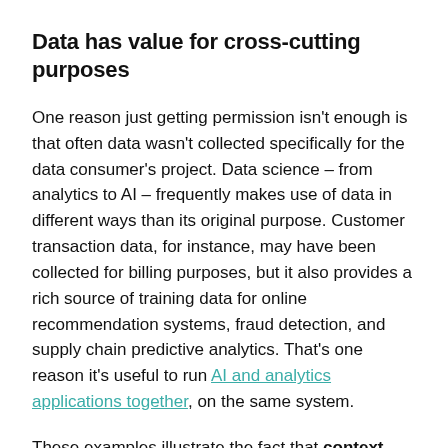Data has value for cross-cutting purposes
One reason just getting permission isn't enough is that often data wasn't collected specifically for the data consumer's project. Data science – from analytics to AI – frequently makes use of data in different ways than its original purpose. Customer transaction data, for instance, may have been collected for billing purposes, but it also provides a rich source of training data for online recommendation systems, fraud detection, and supply chain predictive analytics. That's one reason it's useful to run AI and analytics applications together, on the same system.
These examples illustrate the fact that context gives data value, as pointed out by Joanna McKenzie, Principal Data Scientist at The Data Lab – Innovation